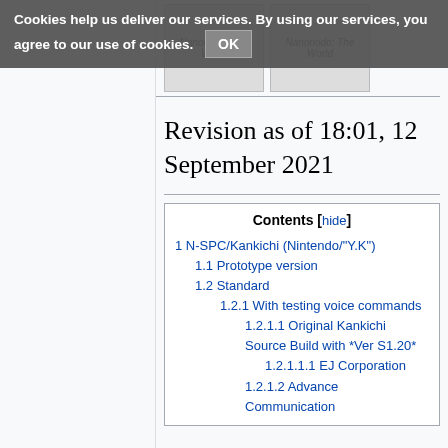Cookies help us deliver our services. By using our services, you agree to our use of cookies. OK
Revision as of 18:01, 12 September 2021
| Contents [hide] |
| --- |
| 1 N-SPC/Kankichi (Nintendo/"Y.K") |
| 1.1 Prototype version |
| 1.2 Standard |
| 1.2.1 With testing voice commands |
| 1.2.1.1 Original Kankichi Source Build with *Ver S1.20* |
| 1.2.1.1.1 EJ Corporation |
| 1.2.1.2 Advance Communication |
| 1.2.1.3 ... |